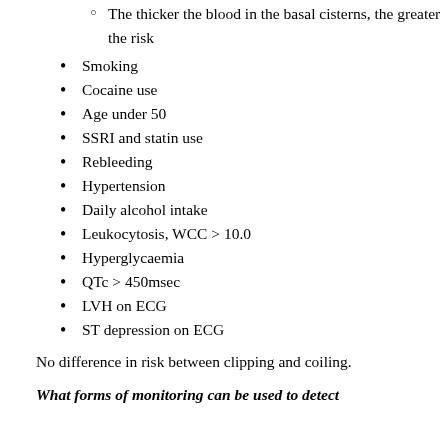The thicker the blood in the basal cisterns, the greater the risk
Smoking
Cocaine use
Age under 50
SSRI and statin use
Rebleeding
Hypertension
Daily alcohol intake
Leukocytosis, WCC > 10.0
Hyperglycaemia
QTc > 450msec
LVH on ECG
ST depression on ECG
No difference in risk between clipping and coiling.
What forms of monitoring can be used to detect